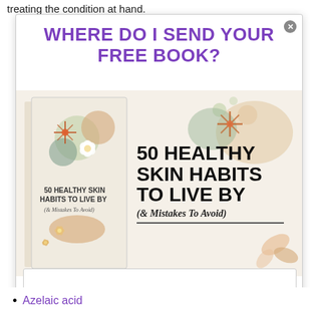treating the condition at hand.
WHERE DO I SEND YOUR FREE BOOK?
[Figure (illustration): A modal popup showing a book titled '50 Healthy Skin Habits To Live By (& Mistakes To Avoid)' with the book cover on the left and large bold text on the right against a cream background with floral decorations.]
Azelaic acid